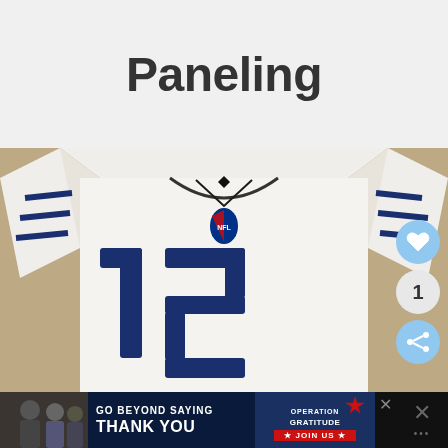Paneling
[Figure (photo): White Indianapolis Colts NFL football jersey with number 12 in navy blue, photographed on a carpet background. NFL shield logo visible at neckline. Social action buttons (heart, count showing 1, share) visible on the right side.]
[Figure (photo): Advertisement banner: 'GO BEYOND SAYING THANK YOU' - Operation Gratitude JOIN US ad on dark background with people in background photo on left side. Close button visible. Additional X close icon and menu dots on far right.]